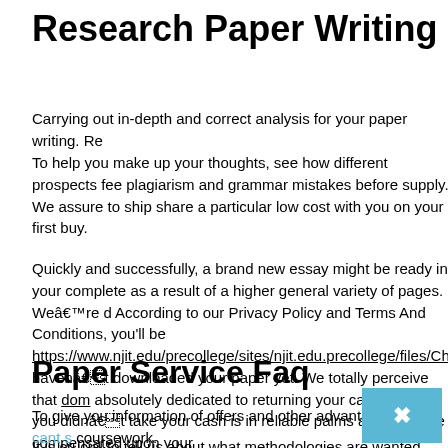Research Paper Writing Service
Carrying out in-depth and correct analysis for your paper writing. Re...
To help you make up your thoughts, see how different prospects fee... plagiarism and grammar mistakes before supply. We assure to ship... share a particular low cost with you on your first buy.
Quickly and successfully, a brand new essay might be ready in your... complete as a result of a higher general variety of pages. Weâre d... According to our Privacy Policy and Terms And Conditions, you'll be... https://www.njit.edu/precollege/sites/njit.edu.precollege/files/Chemic... havenât downloaded your paper yet. We totally perceive that dom... absolutely dedicated to returning your cash should you didnât take... your cash is in reliable palms and might be compensated upon your...
Paper Service Faq
To give you information of offers and other advantages. They cant s... coursework.
It is crucial to tell us about what methodologies are wanted when in...